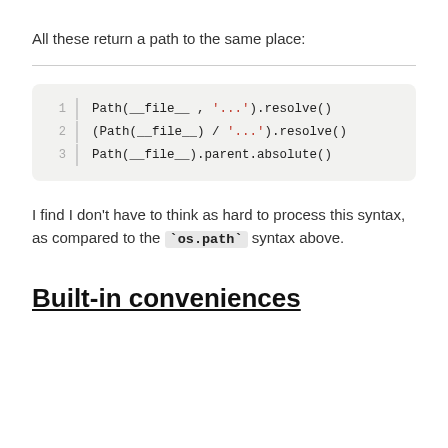All these return a path to the same place:
[Figure (other): Horizontal divider line]
1  Path(__file__ , '...').resolve()
2  (Path(__file__) / '...').resolve()
3  Path(__file__).parent.absolute()
I find I don't have to think as hard to process this syntax, as compared to the `os.path` syntax above.
Built-in conveniences